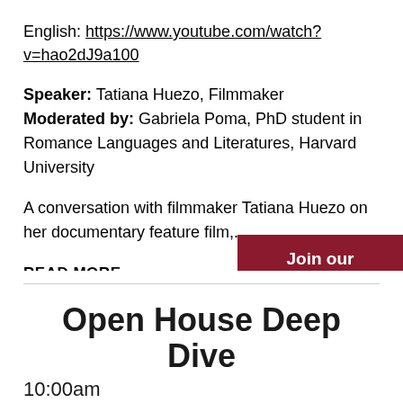English: https://www.youtube.com/watch?v=hao2dJ9a100
Speaker: Tatiana Huezo, Filmmaker
Moderated by: Gabriela Poma, PhD student in Romance Languages and Literatures, Harvard University
A conversation with filmmaker Tatiana Huezo on her documentary feature film,...
READ MORE →
Join our Email List
Open House Deep Dive
10:00am